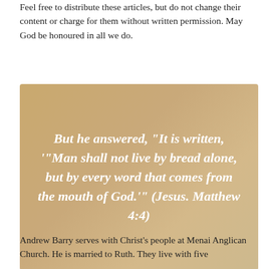Feel free to distribute these articles, but do not change their content or charge for them without written permission. May God be honoured in all we do.
[Figure (other): Gold/tan gradient background box containing a Bible quote in white bold italic text: But he answered, "It is written, '"Man shall not live by bread alone, but by every word that comes from the mouth of God.'" (Jesus. Matthew 4:4)]
Andrew Barry serves with Christ's people at Menai Anglican Church. He is married to Ruth. They live with five